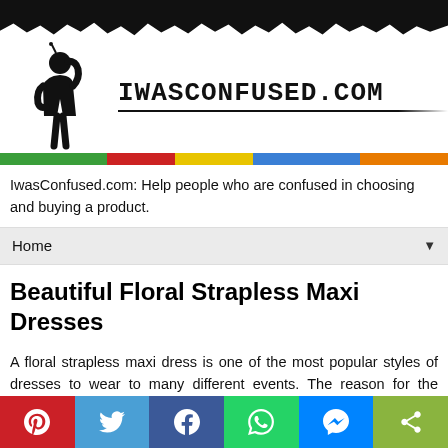[Figure (logo): IwasConfused.com website header with person silhouette logo and site name in monospace font, with colorful stripe bar below]
IwasConfused.com: Help people who are confused in choosing and buying a product.
Home ▼
Beautiful Floral Strapless Maxi Dresses
A floral strapless maxi dress is one of the most popular styles of dresses to wear to many different events. The reason for the popularity is because people of all different
[Figure (infographic): Social media share buttons bar: Pinterest (red), Twitter (blue), Facebook (dark blue), WhatsApp (green), Messenger (blue), Share (green)]